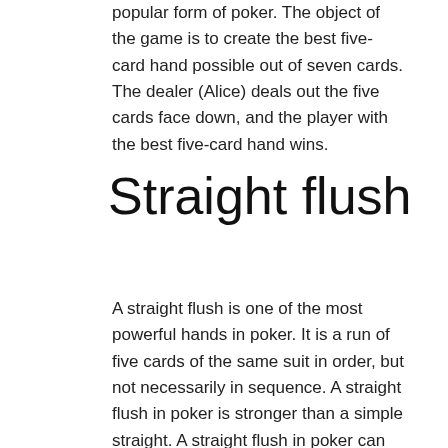Five card draw poker is an extremely popular form of poker. The object of the game is to create the best five-card hand possible out of seven cards. The dealer (Alice) deals out the five cards face down, and the player with the best five-card hand wins.
Straight flush
A straight flush is one of the most powerful hands in poker. It is a run of five cards of the same suit in order, but not necessarily in sequence. A straight flush in poker is stronger than a simple straight. A straight flush in poker can also beat a full house. Although all the suits in poker have equal value, some poker games assign different